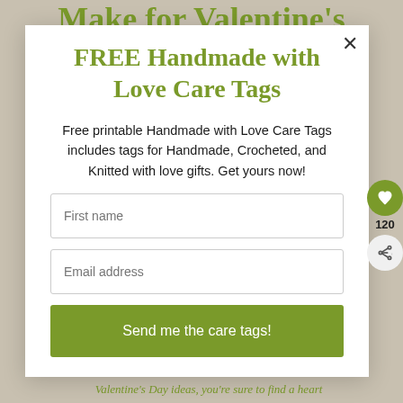Make for Valentine's
FREE Handmade with Love Care Tags
Free printable Handmade with Love Care Tags includes tags for Handmade, Crocheted, and Knitted with love gifts. Get yours now!
First name
Email address
Send me the care tags!
120
Valentine's Day ideas, you're sure to find a heart